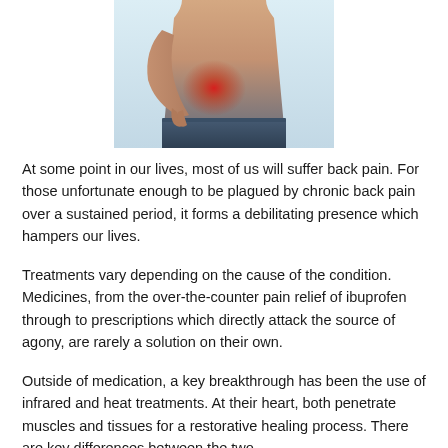[Figure (photo): Photo of a person's bare torso from behind, with a red glowing spot on the lower back indicating pain. The person's hand is placed near the painful area.]
At some point in our lives, most of us will suffer back pain. For those unfortunate enough to be plagued by chronic back pain over a sustained period, it forms a debilitating presence which hampers our lives.
Treatments vary depending on the cause of the condition. Medicines, from the over-the-counter pain relief of ibuprofen through to prescriptions which directly attack the source of agony, are rarely a solution on their own.
Outside of medication, a key breakthrough has been the use of infrared and heat treatments. At their heart, both penetrate muscles and tissues for a restorative healing process. There are key differences between the two.